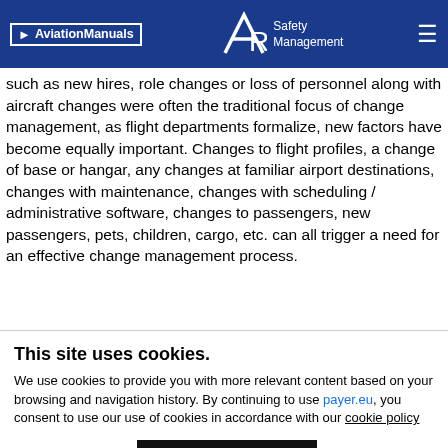AviationManuals | ARC Safety Management
such as new hires, role changes or loss of personnel along with aircraft changes were often the traditional focus of change management, as flight departments formalize, new factors have become equally important. Changes to flight profiles, a change of base or hangar, any changes at familiar airport destinations, changes with maintenance, changes with scheduling / administrative software, changes to passengers, new passengers, pets, children, cargo, etc. can all trigger a need for an effective change management process.
This site uses cookies.
We use cookies to provide you with more relevant content based on your browsing and navigation history. By continuing to use payer.eu, you consent to use our use of cookies in accordance with our cookie policy
Cookie settings
Accept all cookies